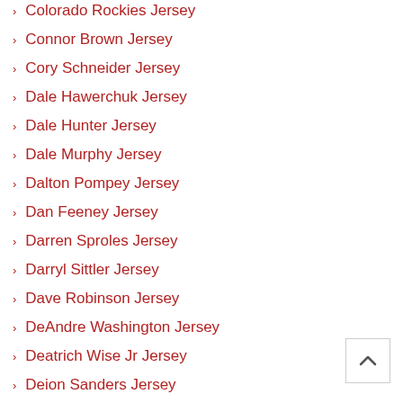Colorado Rockies Jersey
Connor Brown Jersey
Cory Schneider Jersey
Dale Hawerchuk Jersey
Dale Hunter Jersey
Dale Murphy Jersey
Dalton Pompey Jersey
Dan Feeney Jersey
Darren Sproles Jersey
Darryl Sittler Jersey
Dave Robinson Jersey
DeAndre Washington Jersey
Deatrich Wise Jr Jersey
Deion Sanders Jersey
Delano Hill Jersey
Denis Potvin Jersey